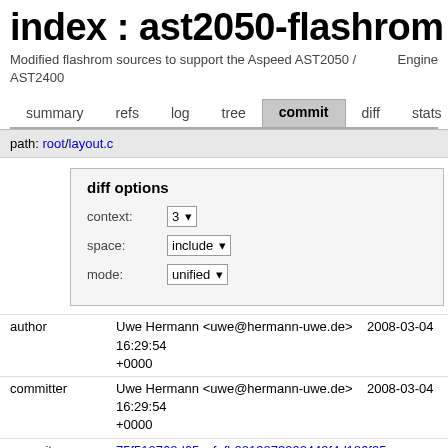index : ast2050-flashrom
Modified flashrom sources to support the Aspeed AST2050 / AST2400
Engine...
summary  refs  log  tree  commit  diff  stats  lo...
path: root/layout.c
diff options
| label | value |
| --- | --- |
| context: | 3 |
| space: | include |
| mode: | unified |
| field | value |
| --- | --- |
| author | Uwe Hermann <uwe@hermann-uwe.de>  2008-03-04 16:29:54 +0000 |
| committer | Uwe Hermann <uwe@hermann-uwe.de>  2008-03-04 16:29:54 +0000 |
| commit | 75f510768d65acfefb0813873992449f4d186f35 (patch) |
| tree | 58e6c5e7d14928d8f20d7585d4c9caff758931aa /layout.c |
| parent | faa62fb1ffad974df97eee46446c3d0c9d0d061a (diff |